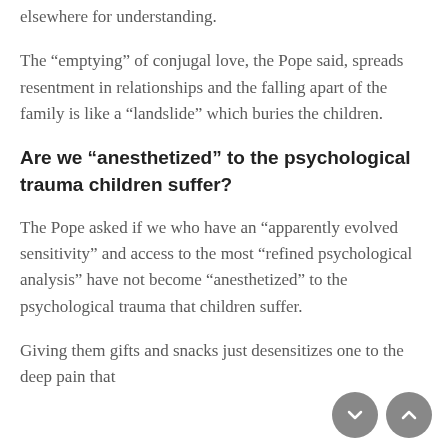elsewhere for understanding.
The “emptying” of conjugal love, the Pope said, spreads resentment in relationships and the falling apart of the family is like a “landslide” which buries the children.
Are we “anesthetized” to the psychological trauma children suffer?
The Pope asked if we who have an “apparently evolved sensitivity” and access to the most “refined psychological analysis” have not become “anesthetized” to the psychological trauma that children suffer.
Giving them gifts and snacks just desensitizes one to the deep pain that